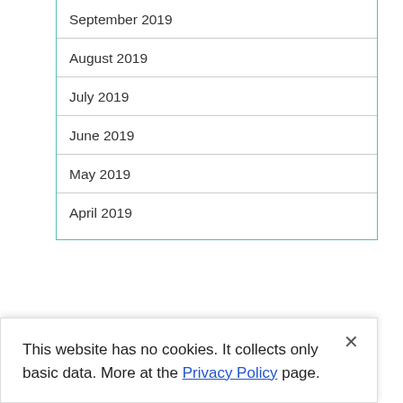September 2019
August 2019
July 2019
June 2019
May 2019
April 2019
[Figure (screenshot): Red subscribe button inside a teal-bordered rounded container, partially visible]
This website has no cookies. It collects only basic data. More at the Privacy Policy page.